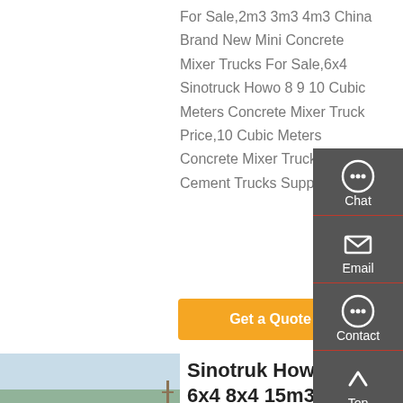For Sale,2m3 3m3 4m3 China Brand New Mini Concrete Mixer Trucks For Sale,6x4 Sinotruck Howo 8 9 10 Cubic Meters Concrete Mixer Truck Price,10 Cubic Meters Concrete Mixer Truck from Cement Trucks Supplier or ...
[Figure (other): Orange 'Get a Quote' button]
[Figure (photo): Photo of a teal/green Sinotruk Howo concrete mixer truck on a road with trees in background]
Sinotruk Howo 6x4 8x4 15m3 Concrete Mixer Truck With Factory ...
[Figure (infographic): Dark sidebar with Chat, Email, Contact icons and Top button]